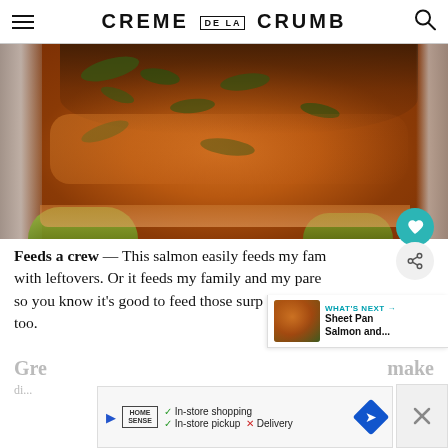CREME DE LA CRUMB
[Figure (photo): Close-up photo of broiled/baked salmon fillet with herb garnish on aluminum foil with lime slices]
Feeds a crew — This salmon easily feeds my family with leftovers. Or it feeds my family and my parents, so you know it's good to feed those surprise guests too.
[Figure (photo): What's Next widget showing thumbnail of Sheet Pan Salmon recipe]
[Figure (other): Advertisement bar: Home Sense store ad with in-store shopping checkmark, in-store pickup checkmark, Delivery X]